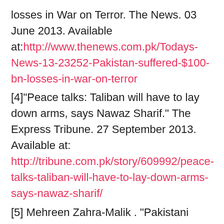losses in War on Terror. The News. 03 June 2013. Available at: http://www.thenews.com.pk/Todays-News-13-23252-Pakistan-suffered-$100-bn-losses-in-war-on-terror
[4]"Peace talks: Taliban will have to lay down arms, says Nawaz Sharif." The Express Tribune. 27 September 2013. Available at: http://tribune.com.pk/story/609992/peace-talks-taliban-will-have-to-lay-down-arms-says-nawaz-sharif/
[5] Mehreen Zahra-Malik . "Pakistani army, government at loggerheads over Taliban talks." Reuters. 20 September 2013: Available at: http://www.reuters.com/article/2013/09/20/us-